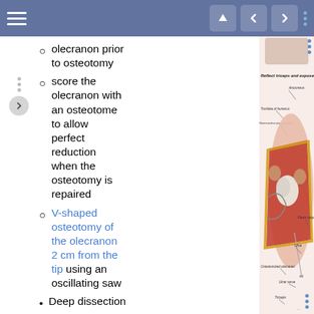Navigation bar with menu and controls
olecranon prior to osteotomy
score the olecranon with an osteotome to allow perfect reduction when the osteotomy is repaired
V-shaped osteotomy of the olecranon 2 cm from the tip using an oscillating saw
Deep dissection
strip soft tissue from the edges
[Figure (illustration): Anatomical illustration titled 'Reflect triceps and expose trochlea' showing a dissected elbow with labeled structures: Anconeus, Trochlea of humerus, Humeroulnar joint capsule, Flexor carpi ulnaris, Ulna, Ulnar nerve, Osteotomized olecranon, Triceps]